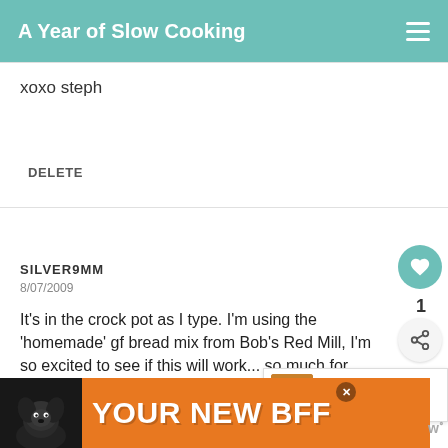A Year of Slow Cooking
xoxo steph
DELETE
SILVER9MM
8/07/2009
It's in the crock pot as I type. I'm using the 'homemade' gf bread mix from Bob's Red Mill, I'm so excited to see if this will work... so much for answering questions a... readers, they helped me feel a lot more confident in trying this. I'll let you know how it
[Figure (screenshot): WHAT'S NEXT arrow followed by CrockPot Bread... overlay with food thumbnail image]
[Figure (illustration): Advertisement banner: black dog image on left, orange background with YOUR NEW BFF text in white, close button, W logo on right]